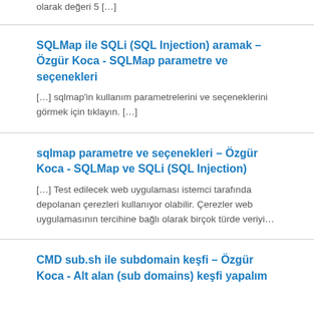olarak değeri 5 […]
SQLMap ile SQLi (SQL Injection) aramak – Özgür Koca - SQLMap parametre ve seçenekleri
[…] sqlmap'in kullanım parametrelerini ve seçeneklerini görmek için tıklayın. […]
sqlmap parametre ve seçenekleri – Özgür Koca - SQLMap ve SQLi (SQL Injection)
[…] Test edilecek web uygulaması istemci tarafında depolanan çerezleri kullanıyor olabilir. Çerezler web uygulamasının tercihine bağlı olarak birçok türde veriyi…
CMD sub.sh ile subdomain keşfi – Özgür Koca - Alt alan (sub domains) keşfi yapalım